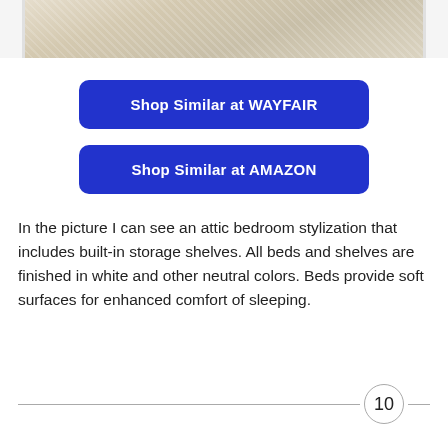[Figure (photo): Attic bedroom photo showing built-in storage shelves and beds finished in white and neutral colors, cropped to show the top portion]
Shop Similar at WAYFAIR
Shop Similar at AMAZON
In the picture I can see an attic bedroom stylization that includes built-in storage shelves. All beds and shelves are finished in white and other neutral colors. Beds provide soft surfaces for enhanced comfort of sleeping.
10